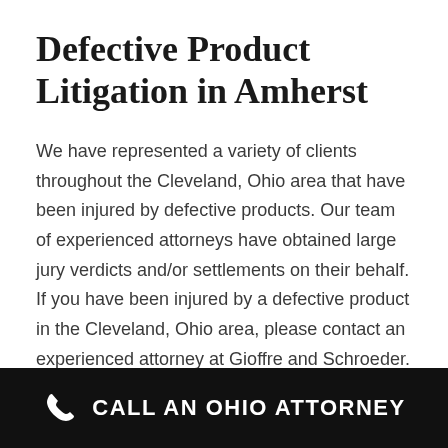Defective Product Litigation in Amherst
We have represented a variety of clients throughout the Cleveland, Ohio area that have been injured by defective products. Our team of experienced attorneys have obtained large jury verdicts and/or settlements on their behalf. If you have been injured by a defective product in the Cleveland, Ohio area, please contact an experienced attorney at Gioffre and Schroeder. We will obtain you the results you deserve.
CALL AN OHIO ATTORNEY